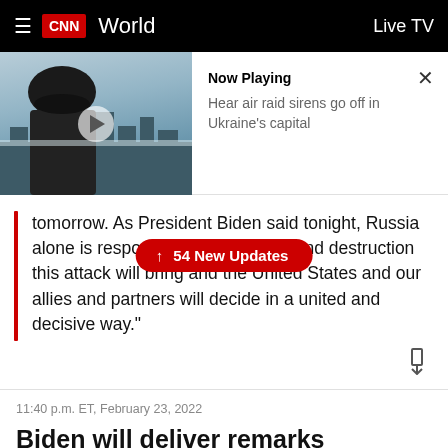CNN World  Live TV
[Figure (screenshot): Video thumbnail showing a soldier in a helmet against a snowy cityscape background]
Now Playing
Hear air raid sirens go off in Ukraine's capital
tomorrow. As President Biden said tonight, Russia alone is responsible for the death and destruction this attack will bring and the United States and our allies and partners will decide in a united and decisive way."
↑ 54 New Updates
11:40 p.m. ET, February 23, 2022
Biden will deliver remarks tomorrow on Russia's military action